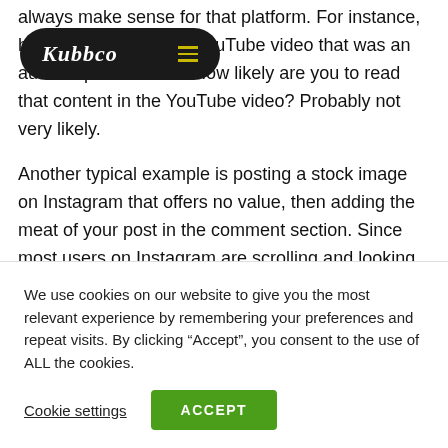[Figure (logo): Kubbco logo with hamburger menu — dark rounded pill shape with white italic script 'Kubbco' text and yellow horizontal lines icon]
always make sense for that platform. For instance, have you ever seen a YouTube video that was an audio clip of content? How likely are you to read that content in the YouTube video? Probably not very likely.

Another typical example is posting a stock image on Instagram that offers no value, then adding the meat of your post in the comment section. Since most users on Instagram are scrolling and looking at pictures, many
We use cookies on our website to give you the most relevant experience by remembering your preferences and repeat visits. By clicking "Accept", you consent to the use of ALL the cookies.
Cookie settings   ACCEPT